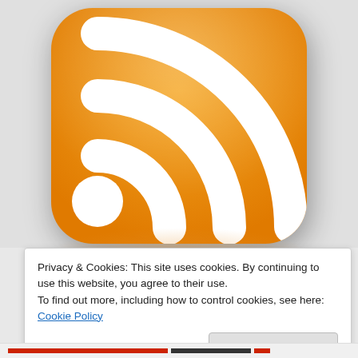[Figure (logo): Large RSS feed icon — orange rounded square with white wifi/broadcast arcs and a white circle dot, shown cropped from the top, with a soft reflection below]
Privacy & Cookies: This site uses cookies. By continuing to use this website, you agree to their use.
To find out more, including how to control cookies, see here: Cookie Policy
Close and accept